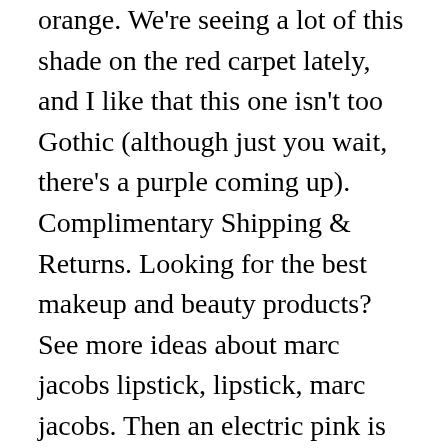orange. We're seeing a lot of this shade on the red carpet lately, and I like that this one isn't too Gothic (although just you wait, there's a purple coming up). Complimentary Shipping & Returns. Looking for the best makeup and beauty products? See more ideas about marc jacobs lipstick, lipstick, marc jacobs. Then an electric pink is right up your ... It is supposed to be a "liquid lipstick" but in a pencil form, so there is an actual dry down, though it seemed to take quite awhile to dry down on my arm (sometimes the swatch was still smudging after 30 minutes) and significantly less time applied to the lips (five to ten minutes). 234 Core Cora is described as "brilliant coral." 232 Mahogany is described as "hot chocolate." It's free from